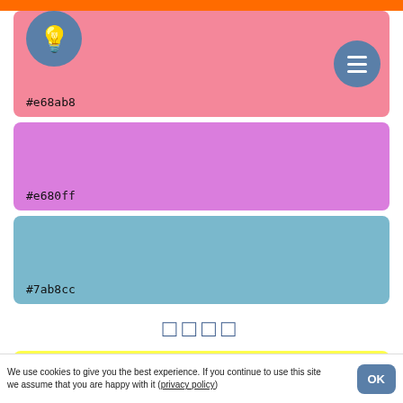[Figure (screenshot): Color swatch app screenshot showing colored sections with hex codes]
#e68ab8
#e680ff
#7ab8cc
□□□□
#ffff4d
#ffff00 / #ff0
#ffffe0
We use cookies to give you the best experience. If you continue to use this site we assume that you are happy with it (privacy policy)